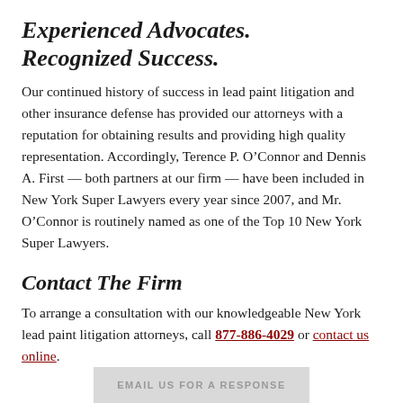Experienced Advocates. Recognized Success.
Our continued history of success in lead paint litigation and other insurance defense has provided our attorneys with a reputation for obtaining results and providing high quality representation. Accordingly, Terence P. O’Connor and Dennis A. First — both partners at our firm — have been included in New York Super Lawyers every year since 2007, and Mr. O’Connor is routinely named as one of the Top 10 New York Super Lawyers.
Contact The Firm
To arrange a consultation with our knowledgeable New York lead paint litigation attorneys, call 877-886-4029 or contact us online.
[Figure (other): Email us for a response button/bar at bottom of page]